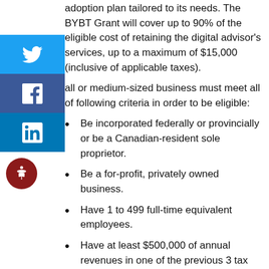adoption plan tailored to its needs. The BYBT Grant will cover up to 90% of the eligible cost of retaining the digital advisor's services, up to a maximum of $15,000 (inclusive of applicable taxes).
A small or medium-sized business must meet all of the following criteria in order to be eligible:
Be incorporated federally or provincially or be a Canadian-resident sole proprietor.
Be a for-profit, privately owned business.
Have 1 to 499 full-time equivalent employees.
Have at least $500,000 of annual revenues in one of the previous 3 tax years.
Interest-Free Loan
Once a digital adoption plan has been developed (either as part of CDAP or under another recognized